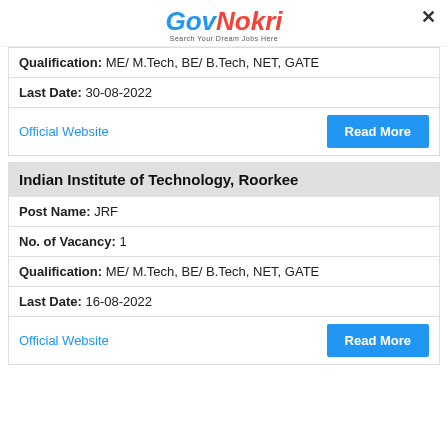GovNokri - Search Your Dream Jobs Here
Qualification: ME/ M.Tech, BE/ B.Tech, NET, GATE
Last Date: 30-08-2022
Official Website
Read More
Indian Institute of Technology, Roorkee
Post Name: JRF
No. of Vacancy: 1
Qualification: ME/ M.Tech, BE/ B.Tech, NET, GATE
Last Date: 16-08-2022
Official Website
Read More